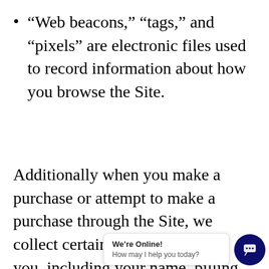“Web beacons,” “tags,” and “pixels” are electronic files used to record information about how you browse the Site.
Additionally when you make a purchase or attempt to make a purchase through the Site, we collect certain information from you, including your name, billing address, shipping address, payment information and